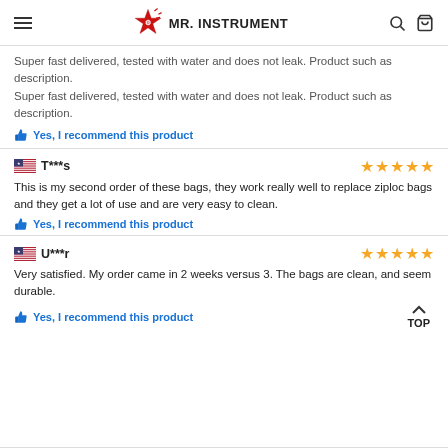MR. INSTRUMENT
Super fast delivered, tested with water and does not leak. Product such as description.
Yes, I recommend this product
T***s — 5 stars
This is my second order of these bags, they work really well to replace ziploc bags and they get a lot of use and are very easy to clean.
Yes, I recommend this product
U***r — 5 stars
Very satisfied. My order came in 2 weeks versus 3. The bags are clean, and seem durable.
Yes, I recommend this product